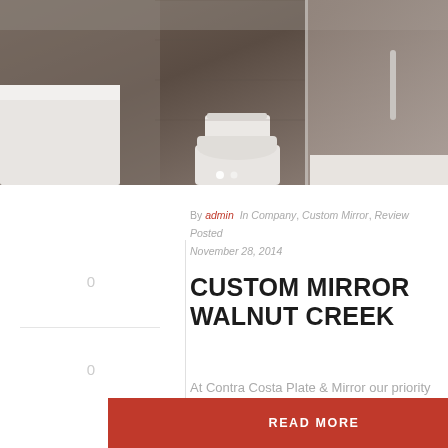[Figure (photo): Bathroom interior photograph showing a toilet and shower area with dark tile walls and white fixtures. Two carousel navigation dots visible at bottom center.]
By admin In Company, Custom Mirror, Review Posted November 28, 2014
CUSTOM MIRROR WALNUT CREEK
At Contra Costa Plate & Mirror our priority is to provide the highest quality service in a timely fashion without sacrificing our excellent pricing. Our pricing is very competitive and our [...]
READ MORE